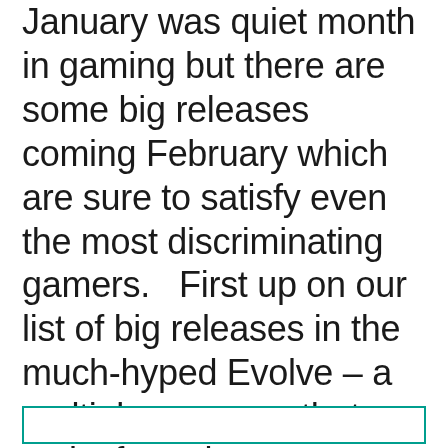January was quiet month in gaming but there are some big releases coming February which are sure to satisfy even the most discriminating gamers.   First up on our list of big releases in the much-hyped Evolve – a multiplayer game that tasks four player controlled Hunters with destroying a monstrous creature controlled by a fifth player. Victory [...]